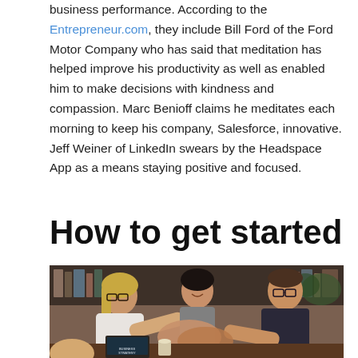business performance. According to the Entrepreneur.com, they include Bill Ford of the Ford Motor Company who has said that meditation has helped improve his productivity as well as enabled him to make decisions with kindness and compassion. Marc Benioff claims he meditates each morning to keep his company, Salesforce, innovative. Jeff Weiner of LinkedIn swears by the Headspace App as a means staying positive and focused.
How to get started
[Figure (photo): Group of three people sitting around a table putting their hands together in a team gesture. A woman with glasses and blonde hair in a white sweater on the left, a woman with dark hair smiling in the center, and a man with glasses and dark jacket on the right. A laptop with 'BUSINESS STRATEGY' text and a coffee cup are visible on the table. Bookshelf in the background.]